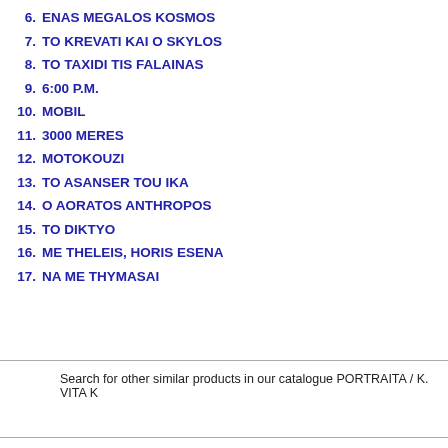6.  ENAS MEGALOS KOSMOS
7.  TO KREVATI KAI O SKYLOS
8.  TO TAXIDI TIS FALAINAS
9.  6:00 P.M.
10.  MOBIL
11.  3000 MERES
12.  MOTOKOUZI
13.  TO ASANSER TOU IKA
14.  O AORATOS ANTHROPOS
15.  TO DIKTYO
16.  ME THELEIS, HORIS ESENA
17.  NA ME THYMASAI
Search for other similar products in our catalogue PORTRAITA / K. VITA K